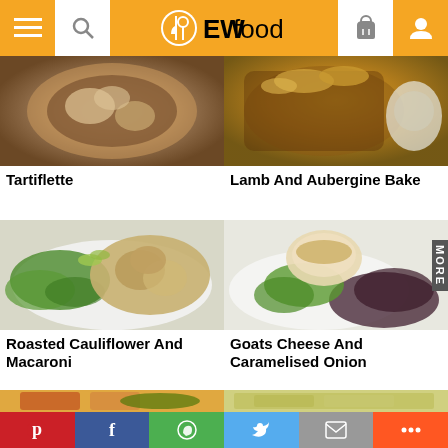EWfood - navigation header with menu, search, logo, cart, user icons
[Figure (photo): Tartiflette dish in a round baking dish, cheesy potato gratin]
Tartiflette
[Figure (photo): Lamb and Aubergine Bake in a dark casserole dish with breadcrumb topping]
Lamb And Aubergine Bake
[Figure (photo): Roasted Cauliflower And Macaroni on a white plate with green salad]
Roasted Cauliflower And Macaroni
[Figure (photo): Goats Cheese And Caramelised Onion dish on mixed leaf salad with MORE badge overlay]
Goats Cheese And Caramelised Onion
[Figure (photo): Partial view of another recipe - grilled fish or halloumi with vegetables]
[Figure (photo): Partial view of another recipe - potato gratin or bake]
Social sharing bar: Pinterest, Facebook, WhatsApp, Twitter, Email, More